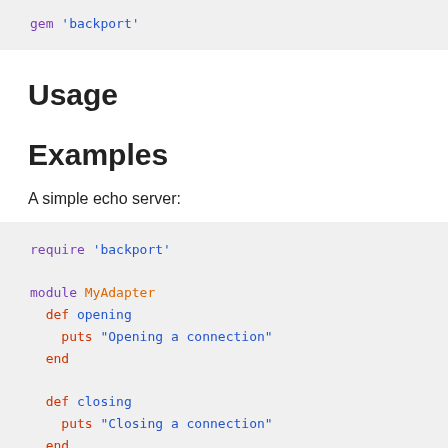gem 'backport'
Usage
Examples
A simple echo server:
require 'backport'

module MyAdapter
  def opening
    puts "Opening a connection"
  end

  def closing
    puts "Closing a connection"
  end